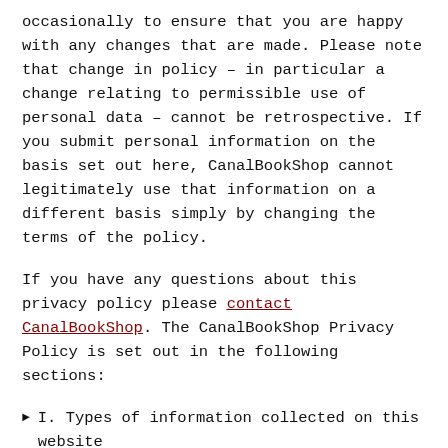occasionally to ensure that you are happy with any changes that are made. Please note that change in policy – in particular a change relating to permissible use of personal data – cannot be retrospective. If you submit personal information on the basis set out here, CanalBookShop cannot legitimately use that information on a different basis simply by changing the terms of the policy.
If you have any questions about this privacy policy please contact CanalBookShop. The CanalBookShop Privacy Policy is set out in the following sections:
I. Types of information collected on this website